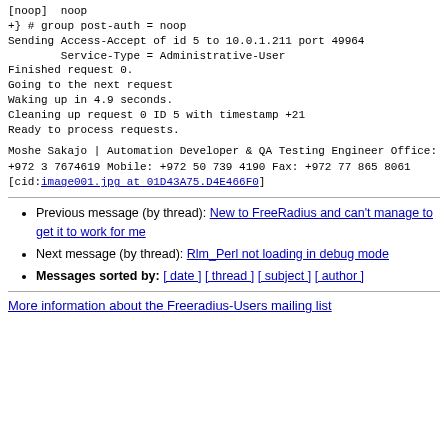[noop]  noop
+} # group post-auth = noop
Sending Access-Accept of id 5 to 10.0.1.211 port 49964
        Service-Type = Administrative-User
Finished request 0.
Going to the next request
Waking up in 4.9 seconds.
Cleaning up request 0 ID 5 with timestamp +21
Ready to process requests.
Moshe Sakajo | Automation Developer & QA Testing Engineer

Office: +972 3 7674619
Mobile: +972 50 739 4190
Fax: +972 77 865 8061
[cid:image001.jpg at 01D43A75.D4E466F0]
Previous message (by thread): New to FreeRadius and can't manage to get it to work for me
Next message (by thread): Rlm_Perl not loading in debug mode
Messages sorted by: [ date ] [ thread ] [ subject ] [ author ]
More information about the Freeradius-Users mailing list